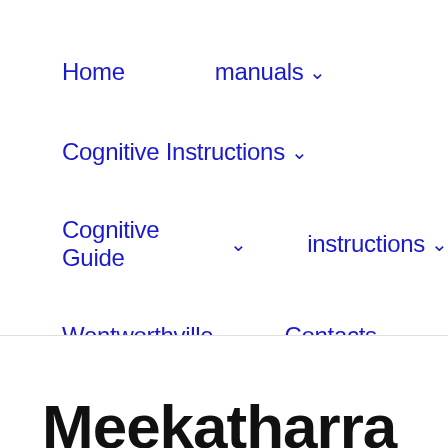Home   manuals ∨
Cognitive Instructions ∨
Cognitive Guide ∨   instructions ∨
Wentworthville ∨   Contacts
Meekatharra Graddaas Graam